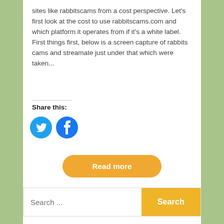sites like rabbitscams from a cost perspective. Let's first look at the cost to use rabbitscams.com and which platform it operates from if it's a white label. First things first, below is a screen capture of rabbits cams and streamate just under that which were taken...
Share this:
[Figure (illustration): Twitter and Facebook social share icon buttons (blue circles with white logos)]
[Figure (illustration): Orange rounded rectangle Read more button]
[Figure (illustration): Search bar with text input field showing 'Search ...' placeholder and an orange Search button]